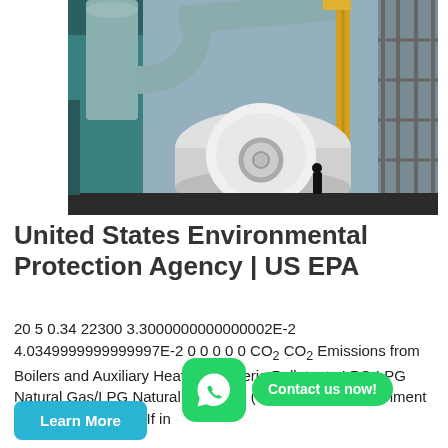[Figure (photo): Industrial boiler installation at a factory site, showing large cylindrical boiler, ductwork/piping, yellow crane, and scaffolding in background.]
United States Environmental Protection Agency | US EPA
20 5 0.34 22300 3.3000000000000002E-2 4.0349999999999997E-2 0 0 0 0 0 CO2 CO2 Emissions from Boilers and Auxiliary Heaters - Criteria Pollutants LPG LPG Natural Gas/LPG Natural Gas/LPG (Y or N) Ozone Attainment Status Severe or 3. If in